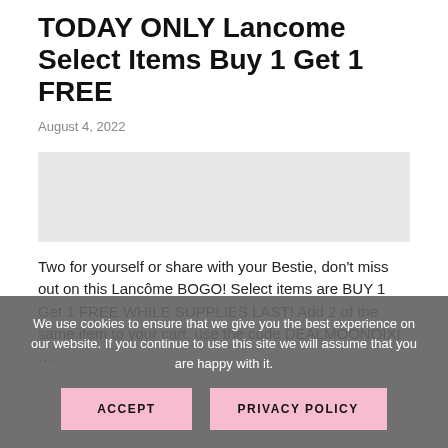TODAY ONLY Lancome Select Items Buy 1 Get 1 FREE
August 4, 2022
[Figure (photo): Image placeholder area for Lancome product]
Two for yourself or share with your Bestie, don't miss out on this Lancôme BOGO! Select items are BUY 1 Get 1 FREE WHILE SUPPLIES LAST! Add 2 of the same item to your cart, use the code DEALMOONQIXI …
We use cookies to ensure that we give you the best experience on our website. If you continue to use this site we will assume that you are happy with it.